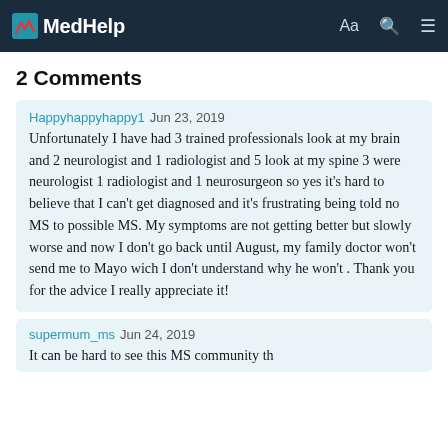MedHelp — navigation bar with Aa, search, and menu icons
2 Comments
Happyhappyhappy1  Jun 23, 2019
Unfortunately I have had  3 trained professionals look at my brain and  2 neurologist and 1 radiologist and 5 look at my spine 3 were neurologist 1 radiologist and 1 neurosurgeon so yes it's hard to believe that I can't get diagnosed and it's frustrating being told no MS to possible MS. My symptoms are not getting better but slowly worse and now I don't go back until August, my family doctor won't send me to Mayo wich I don't understand why he won't . Thank you for the advice I really appreciate it!
supermum_ms  Jun 24, 2019
It can be hard to see this MS community the...